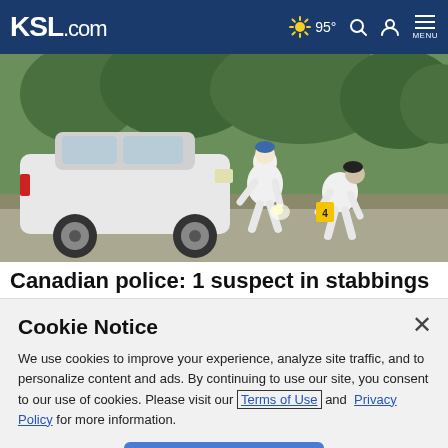KSL.com — 95° — Search — Account — MENU
[Figure (photo): Two forensic investigators in white hazmat suits examining evidence near a white car outdoors, with trees in background. One holds a flashlight and the other places a yellow numbered evidence marker.]
Canadian police: 1 suspect in stabbings has been found dead
Cookie Notice
We use cookies to improve your experience, analyze site traffic, and to personalize content and ads. By continuing to use our site, you consent to our use of cookies. Please visit our Terms of Use and Privacy Policy for more information.
Continue